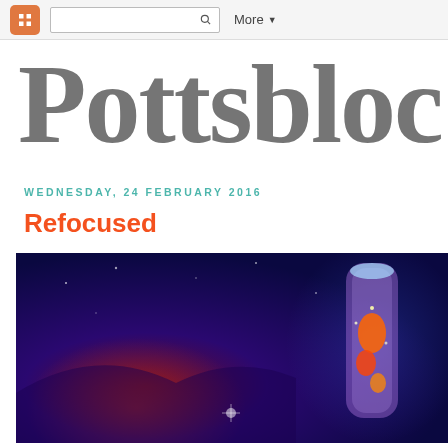Blogger navigation bar with search and More menu
Pottsbloc
WEDNESDAY, 24 FEBRUARY 2016
Refocused
[Figure (illustration): A dark blue and purple cosmic/space background with a glowing lava lamp containing red and orange lava blobs, and sparkling light effects]